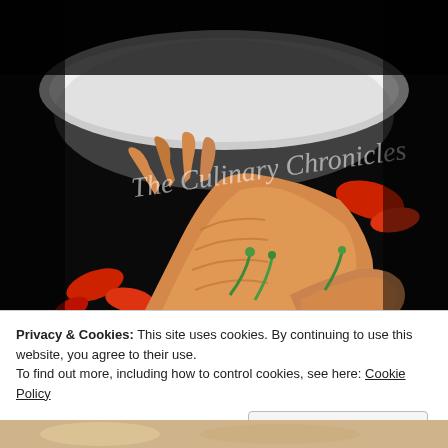[Figure (photo): Close-up food photo of cooked shrimp/prawns with shells on, garnished with green onions and red peppers in a white bowl, on a dark background. Watermark text 'The Culinary Chronicles' in white script overlaid on the image.]
Privacy & Cookies: This site uses cookies. By continuing to use this website, you agree to their use.
To find out more, including how to control cookies, see here: Cookie Policy
Close and accept
[Figure (photo): Partial view of another food photo at the bottom of the page.]